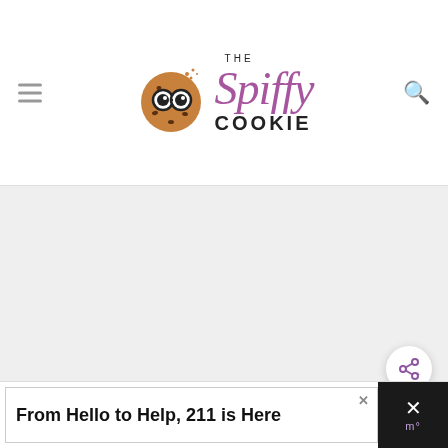THE Spiffy COOKIE
[Figure (photo): Main content image area, light gray placeholder]
GLUTEN-FREE TAHINI COOKIES
[Figure (screenshot): Advertisement banner: From Hello to Help, 211 is Here]